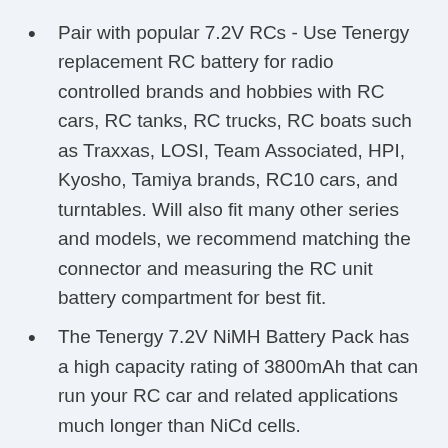Pair with popular 7.2V RCs - Use Tenergy replacement RC battery for radio controlled brands and hobbies with RC cars, RC tanks, RC trucks, RC boats such as Traxxas, LOSI, Team Associated, HPI, Kyosho, Tamiya brands, RC10 cars, and turntables. Will also fit many other series and models, we recommend matching the connector and measuring the RC unit battery compartment for best fit.
The Tenergy 7.2V NiMH Battery Pack has a high capacity rating of 3800mAh that can run your RC car and related applications much longer than NiCd cells.
Hobby battery charger - Tenergy universal charger is great for most RC hobbies and